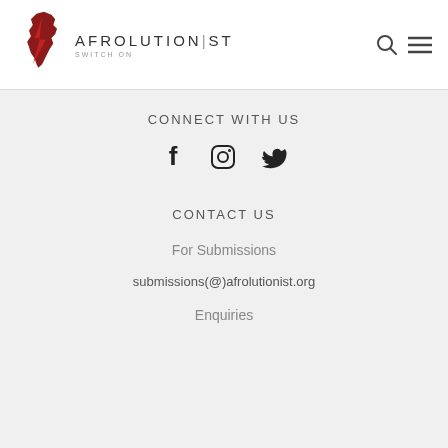[Figure (logo): Afrolutionist logo with Africa continent silhouette in dark red/maroon and a lightning bolt, with text 'AFROLUTIONIST' and tagline 'SWITCH ON']
CONNECT WITH US
[Figure (infographic): Social media icons: Facebook (f), Instagram (circle with inner shapes), Twitter (bird)]
CONTACT US
For Submissions
submissions(@)afrolutionist.org
Enquiries